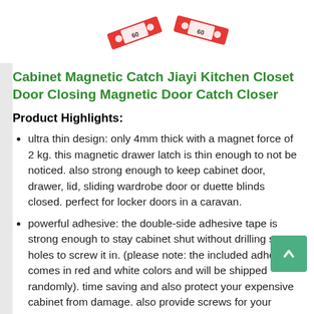[Figure (photo): Product image showing red and white magnetic catches with magnetic symbols on them, arranged on a white background.]
Cabinet Magnetic Catch Jiayi Kitchen Closet Door Closing Magnetic Door Catch Closer
Product Highlights:
ultra thin design: only 4mm thick with a magnet force of 2 kg. this magnetic drawer latch is thin enough to not be noticed. also strong enough to keep cabinet door, drawer, lid, sliding wardrobe door or duette blinds closed. perfect for locker doors in a caravan.
powerful adhesive: the double-side adhesive tape is strong enough to stay cabinet shut without drilling screw holes to screw it in. (please note: the included adhesive comes in red and white colors and will be shipped randomly). time saving and also protect your expensive cabinet from damage. also provide screws for your installation. please close and